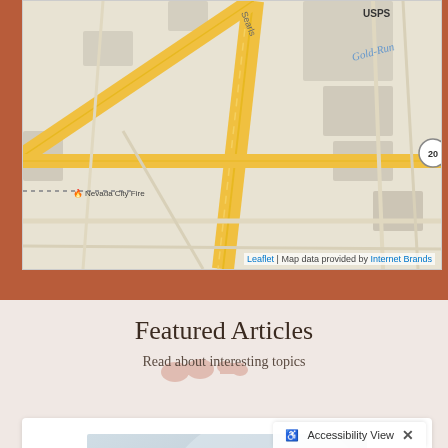[Figure (map): Street map showing Nevada City area with USPS, route 20, a 76 gas station, Nevada City Fire station, and Gold Run label. Yellow roads on beige background. Map attribution: Leaflet | Map data provided by Internet Brands]
Featured Articles
Read about interesting topics
[Figure (photo): Close-up photo of a gray British Shorthair cat with eyes closed, appearing content, with a human finger touching its chin/mouth area]